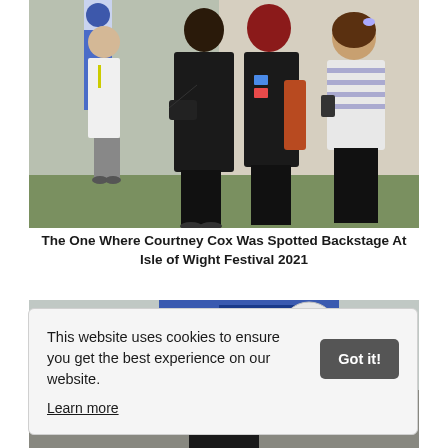[Figure (photo): Outdoor festival scene with four people standing on grass. Three women are in conversation in the foreground; one wears all black with a crossbody bag, another has red hair and holds a rust-colored jacket with festival badges, and a third in a striped top holds a phone. A fourth person is visible in the background near a banner.]
The One Where Courtney Cox Was Spotted Backstage At Isle of Wight Festival 2021
[Figure (photo): Partial outdoor festival photo, partially obscured by cookie consent banner. Blue banner visible at top.]
This website uses cookies to ensure you get the best experience on our website. Learn more